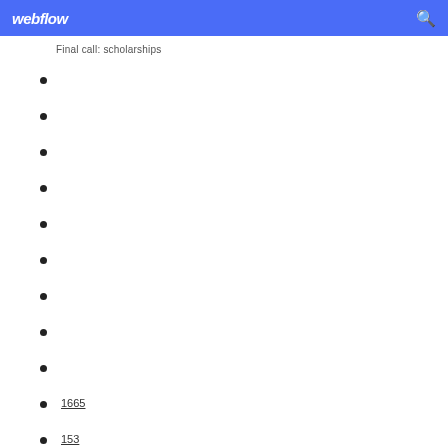webflow
Final call: scholarships
1665
153